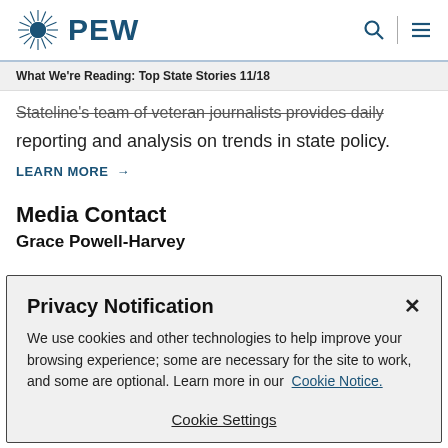PEW
What We're Reading: Top State Stories 11/18
Stateline's team of veteran journalists provides daily reporting and analysis on trends in state policy.
LEARN MORE →
Media Contact
Grace Powell-Harvey
Privacy Notification
We use cookies and other technologies to help improve your browsing experience; some are necessary for the site to work, and some are optional. Learn more in our Cookie Notice.
Cookie Settings